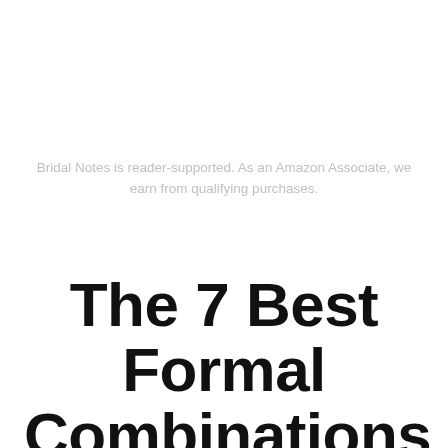Bridal Notes is reader-supported. As an Amazon Associate, we earn from qualifying purchases.
The 7 Best Formal Combinations For